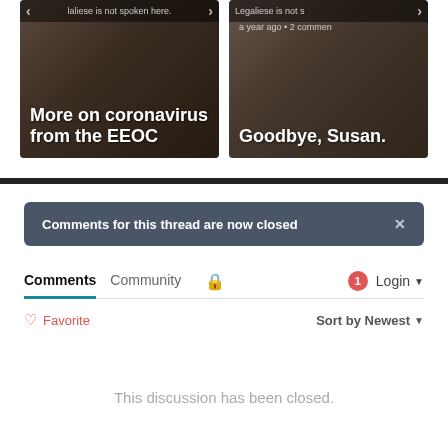[Figure (screenshot): Two article cards side by side. Left card: 'More on coronavirus from the EEOC'. Right card: 'a year ago • 2 comments / Goodbye, Susan.']
Comments for this thread are now closed
Comments  Community  [lock icon]  [1 notification]  Login
♡ Favorite    Sort by Newest ▾
This discussion has been closed.